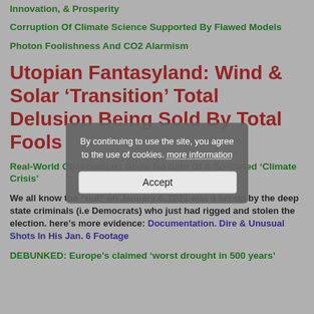Innovation, & Prosperity
Corruption Of Climate Science Supported By Flawed Models
Photon Foolishness And CO2 Alarmism
Utopian Fantasyland: Wind & Solar ‘Transition’ Total Delusion Being Sold By Total Fools
Real-World Observations Show No Sign Of A So-Called ‘Climate Crisis’
We all know the “riot” on January 6, 2021 was a set-up by the deep state criminals (i.e Democrats) who just had rigged and stolen the election. here’s more evidence: Documentation. Dire & Unusual Shots In His Jan. 6 Footage
DEBUNKED: Europe’s claimed ‘worst drought in 500 years’